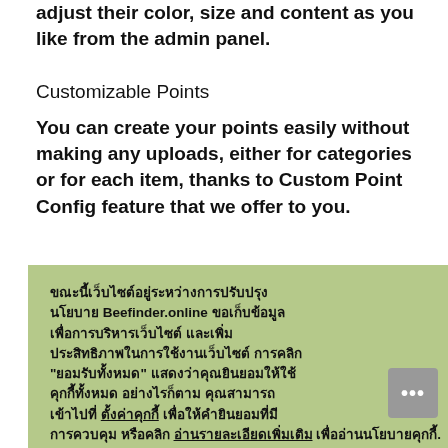adjust their color, size and content as you like from the admin panel.
Customizable Points
You can create your points easily without making any uploads, either for categories or for each item, thanks to Custom Point Config feature that we offer to you.
[Figure (screenshot): Cookie consent popup in Thai language with green background. Contains Thai text about cookie policy, two buttons: 'ยอมรับทั้งหมด' (green) and 'ไม่ตกลง' (black).]
ch has been same address
re in Point n position erties or
oint Finder Google Map by styling. You can find detailed
information about that from and below.